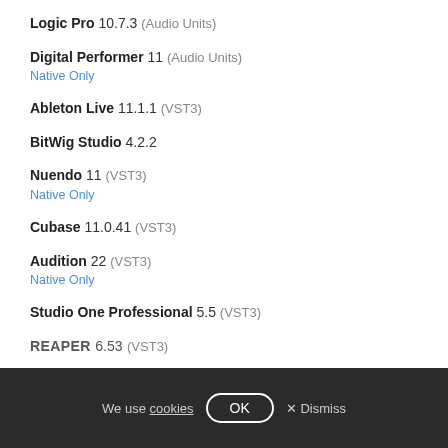Logic Pro 10.7.3 (Audio Units)
Digital Performer 11 (Audio Units)
Native Only
Ableton Live 11.1.1 (VST3)
BitWig Studio 4.2.2
Nuendo 11 (VST3)
Native Only
Cubase 11.0.41 (VST3)
Audition 22 (VST3)
Native Only
Studio One Professional 5.5 (VST3)
REAPER 6.53 (VST3)
We use cookies  OK  × Dismiss